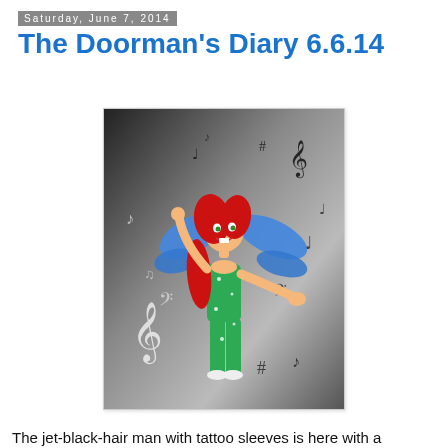Saturday, June 7, 2014
The Doorman's Diary 6.6.14
[Figure (illustration): Cartoon fairy illustration with red hair, blue wings, and green outfit, dancing among black and white musical notes on a grey gradient background.]
The jet-black-hair man with tattoo sleeves is here with a